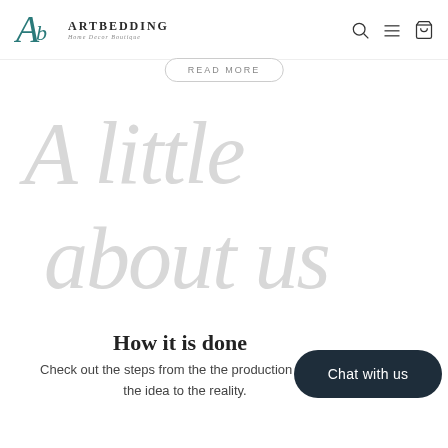ARTBEDDING Home Decor Boutique
[Figure (logo): Artbedding Home Decor Boutique logo with stylized A/B monogram in teal and navigation icons (search, menu, cart)]
READ MORE
[Figure (illustration): Large light gray decorative script watermark text reading 'A little about us']
How it is done
Check out the steps from the the production - from the idea to the reality.
[Figure (other): Dark rounded rectangle chat button reading 'Chat with us']